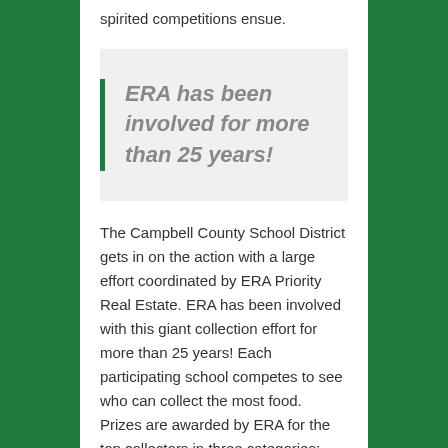spirited competitions ensue.
ERA has been involved for more than 25 years!
The Campbell County School District gets in on the action with a large effort coordinated by ERA Priority Real Estate. ERA has been involved with this giant collection effort for more than 25 years! Each participating school competes to see who can collect the most food.  Prizes are awarded by ERA for the top collectors in three categories: local elementary, rural